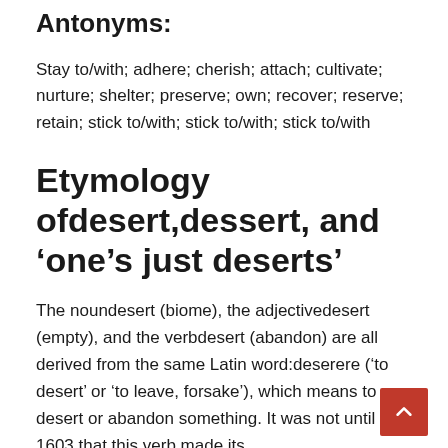Antonyms:
Stay to/with; adhere; cherish; attach; cultivate; nurture; shelter; preserve; own; recover; reserve; retain; stick to/with; stick to/with; stick to/with
Etymology ofdesert,dessert, and ‘one’s just deserts’
The noundesert (biome), the adjectivedesert (empty), and the verbdesert (abandon) are all derived from the same Latin word:deserere (‘to desert’ or ‘to leave, forsake’), which means to desert or abandon something. It was not until 1603 that this verb made its